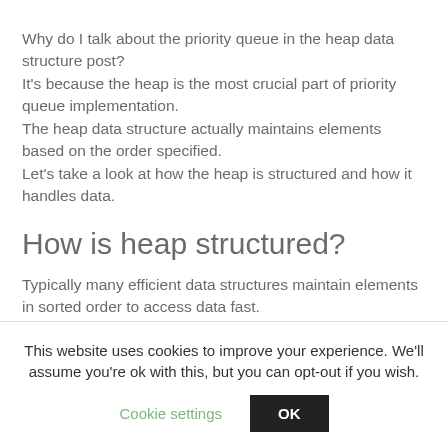Why do I talk about the priority queue in the heap data structure post?
It's because the heap is the most crucial part of priority queue implementation.
The heap data structure actually maintains elements based on the order specified.
Let's take a look at how the heap is structured and how it handles data.
How is heap structured?
Typically many efficient data structures maintain elements in sorted order to access data fast.
This website uses cookies to improve your experience. We'll assume you're ok with this, but you can opt-out if you wish.